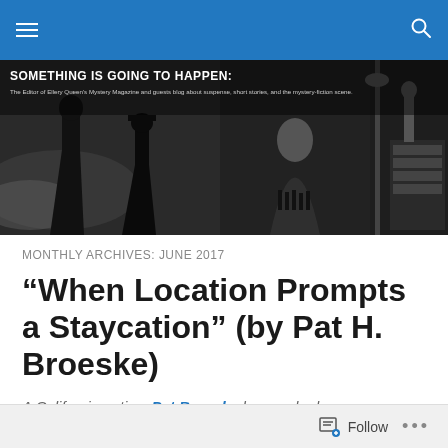Navigation bar with hamburger menu and search icon
[Figure (photo): Black and white banner image for 'Something Is Going To Happen' blog — The Editor of Ellery Queen's Mystery Magazine and guests blog about suspense, short stories, and the mystery-fiction scene. Shows noir-style silhouetted figures, a street lamp, a woman, and a typewriter.]
MONTHLY ARCHIVES: JUNE 2017
“When Location Prompts a Staycation” (by Pat H. Broeske)
A California native, Pat Broeske has worked as a
Follow ...